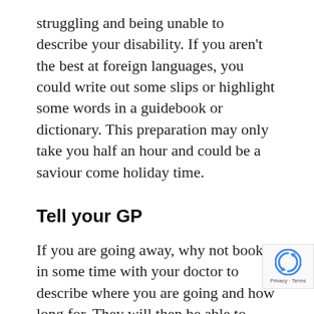struggling and being unable to describe your disability. If you aren't the best at foreign languages, you could write out some slips or highlight some words in a guidebook or dictionary. This preparation may only take you half an hour and could be a saviour come holiday time.
Tell your GP
If you are going away, why not book in some time with your doctor to describe where you are going and how long for. They will then be able to assess the situation and give you the best advice for travelling, medication and getting about. There is no one better placed to give some much needed tips and they will also then